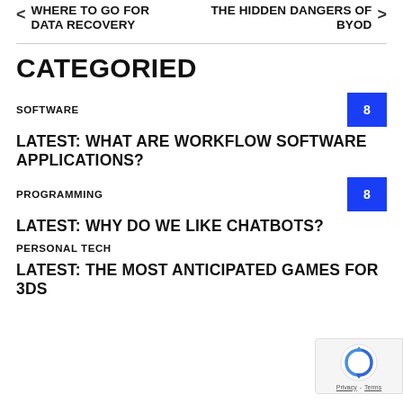WHERE TO GO FOR DATA RECOVERY
THE HIDDEN DANGERS OF BYOD
CATEGORIED
SOFTWARE  8
LATEST: WHAT ARE WORKFLOW SOFTWARE APPLICATIONS?
PROGRAMMING  8
LATEST: WHY DO WE LIKE CHATBOTS?
PERSONAL TECH
LATEST: THE MOST ANTICIPATED GAMES FOR 3DS